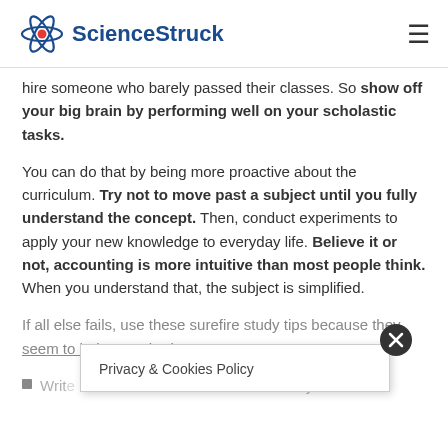ScienceStruck
hire someone who barely passed their classes. So show off your big brain by performing well on your scholastic tasks.
You can do that by being more proactive about the curriculum. Try not to move past a subject until you fully understand the concept. Then, conduct experiments to apply your new knowledge to everyday life. Believe it or not, accounting is more intuitive than most people think. When you understand that, the subject is simplified.
If all else fails, use these surefire study tips because they seem to help everybody:
Write ... because you never
Privacy & Cookies Policy